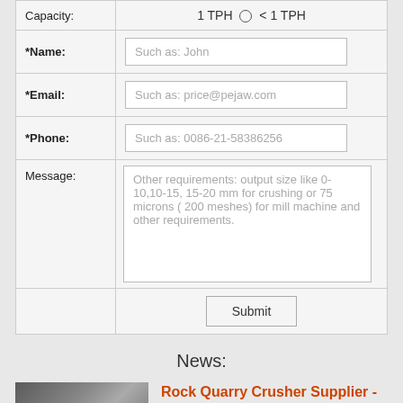| Field | Value |
| --- | --- |
| Capacity: | 1 TPH ○ < 1 TPH |
| *Name: | Such as: John |
| *Email: | Such as: price@pejaw.com |
| *Phone: | Such as: 0086-21-58386256 |
| Message: | Other requirements: output size like 0-10,10-15, 15-20 mm for crushing or 75 microns ( 200 meshes) for mill machine and other requirements. |
|  | Submit |
News:
Rock Quarry Crusher Supplier - Know More
[Figure (photo): Industrial rock crusher machinery photo]